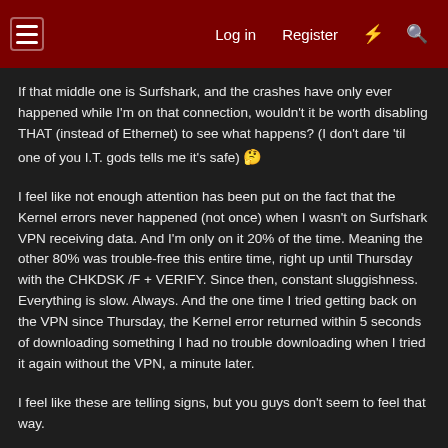Log in  Register
If that middle one is Surfshark, and the crashes have only ever happened while I'm on that connection, wouldn't it be worth disabling THAT (instead of Ethernet) to see what happens? (I don't dare 'til one of you I.T. gods tells me it's safe) 🤔
I feel like not enough attention has been put on the fact that the Kernel errors never happened (not once) when I wasn't on Surfshark VPN receiving data. And I'm only on it 20% of the time. Meaning the other 80% was trouble-free this entire time, right up until Thursday with the CHKDSK /F + VERIFY. Since then, constant sluggishness. Everything is slow. Always. And the one time I tried getting back on the VPN since Thursday, the Kernel error returned within 5 seconds of downloading something I had no trouble downloading when I tried it again without the VPN, a minute later.
I feel like these are telling signs, but you guys don't seem to feel that way.